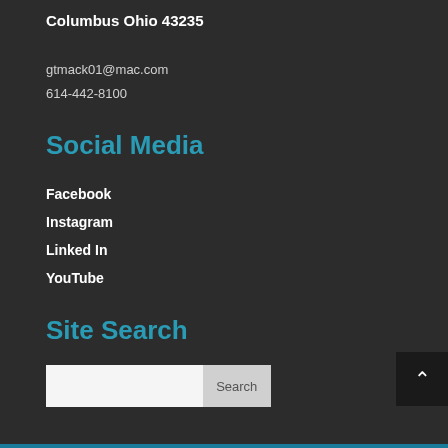Columbus Ohio 43235
gtmack01@mac.com
614-442-8100
Social Media
Facebook
Instagram
Linked In
YouTube
Site Search
Search